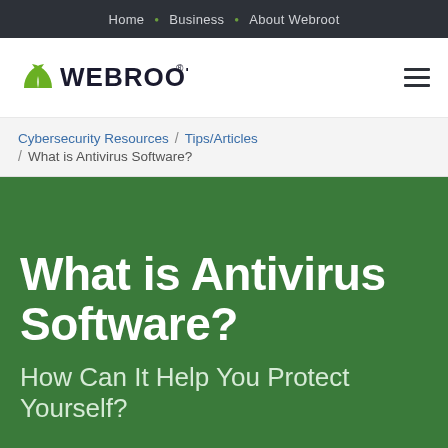Home • Business • About Webroot
[Figure (logo): Webroot logo with green leaf icon and bold dark text WEBROOT with registered trademark symbol]
Cybersecurity Resources / Tips/Articles / What is Antivirus Software?
What is Antivirus Software?
How Can It Help You Protect Yourself?